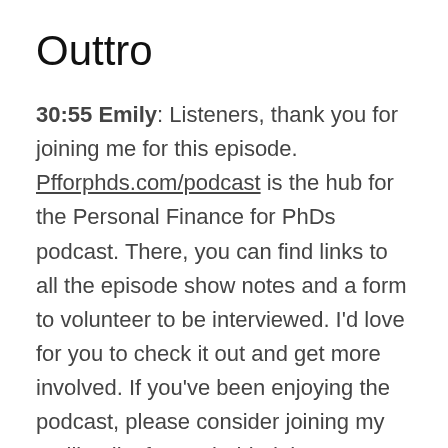Outtro
30:55 Emily: Listeners, thank you for joining me for this episode. Pfforphds.com/podcast is the hub for the Personal Finance for PhDs podcast. There, you can find links to all the episode show notes and a form to volunteer to be interviewed. I’d love for you to check it out and get more involved. If you’ve been enjoying the podcast, please consider joining my mailing list for my behind the scenes commentary about each episode. Register at pfforphds.com/subscribe. See